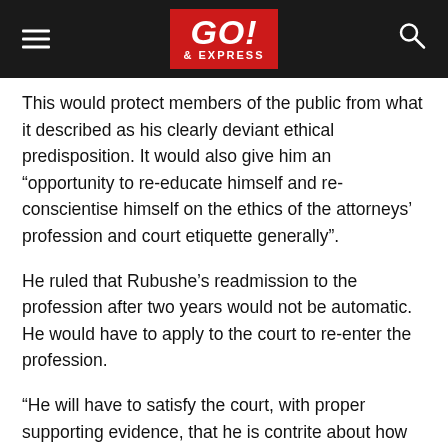GO! & EXPRESS
This would protect members of the public from what it described as his clearly deviant ethical predisposition. It would also give him an “opportunity to re-educate himself and re-conscientise himself on the ethics of the attorneys’ profession and court etiquette generally”.
He ruled that Rubushe’s readmission to the profession after two years would not be automatic. He would have to apply to the court to re-enter the profession.
“He will have to satisfy the court, with proper supporting evidence, that he is contrite about how he deliberately and shamelessly conducted himself towards his client, Mr Mfengwana.”